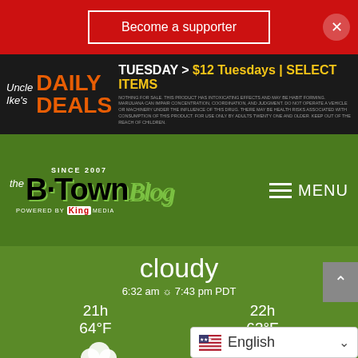Become a supporter
[Figure (screenshot): Uncle Ike's Daily Deals advertisement banner. TUESDAY > $12 Tuesdays | SELECT ITEMS with fine print warning text.]
[Figure (logo): The B·Town Blog logo - Since 2007, Powered by King Media]
cloudy
6:32 am ☼ 7:43 pm PDT
21h	22h
64°F	63°F
mon	tue	wed
73/54°F	79/55'
[Figure (screenshot): English language selector dropdown with US flag icon]